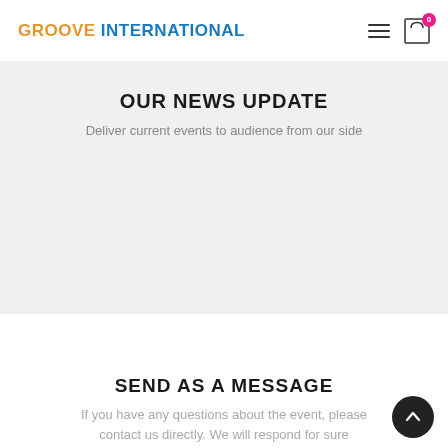GROOVE INTERNATIONAL — navigation bar with hamburger menu and cart icon (badge: 0)
OUR NEWS UPDATE
Deliver current events to audience from our side
SEND AS A MESSAGE
If you have any questions about the event, please contact us directly. We will respond for sure